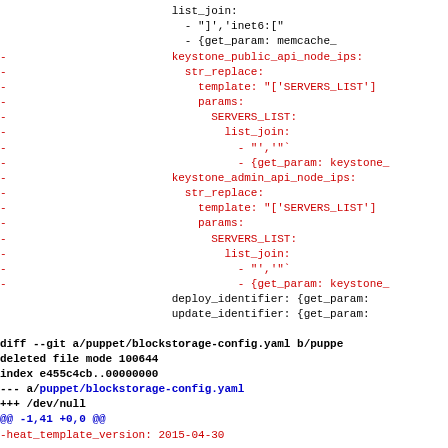Code diff showing YAML configuration changes including keystone_public_api_node_ips, keystone_admin_api_node_ips, and blockstorage-config.yaml diff